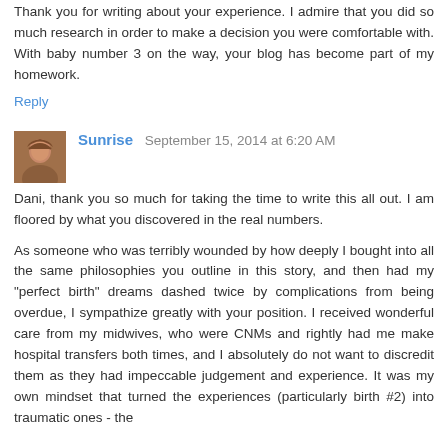Thank you for writing about your experience. I admire that you did so much research in order to make a decision you were comfortable with. With baby number 3 on the way, your blog has become part of my homework.
Reply
Sunrise  September 15, 2014 at 6:20 AM
Dani, thank you so much for taking the time to write this all out. I am floored by what you discovered in the real numbers.
As someone who was terribly wounded by how deeply I bought into all the same philosophies you outline in this story, and then had my "perfect birth" dreams dashed twice by complications from being overdue, I sympathize greatly with your position. I received wonderful care from my midwives, who were CNMs and rightly had me make hospital transfers both times, and I absolutely do not want to discredit them as they had impeccable judgement and experience. It was my own mindset that turned the experiences (particularly birth #2) into traumatic ones - the